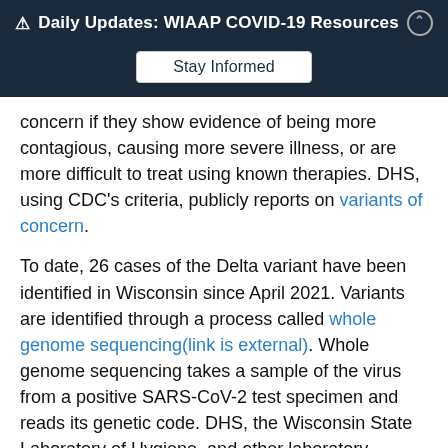⚠ Daily Updates: WIAAP COVID-19 Resources
Stay Informed
concern if they show evidence of being more contagious, causing more severe illness, or are more difficult to treat using known therapies. DHS, using CDC's criteria, publicly reports on variants of concern.
To date, 26 cases of the Delta variant have been identified in Wisconsin since April 2021. Variants are identified through a process called whole genome sequencing(link is external). Whole genome sequencing takes a sample of the virus from a positive SARS-CoV-2 test specimen and reads its genetic code. DHS, the Wisconsin State Laboratory of Hygiene, and other laboratory partners regularly perform whole